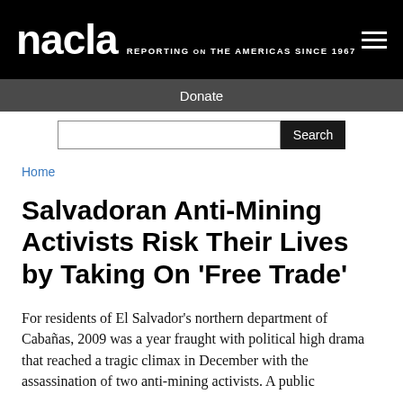nacla REPORTING ON THE AMERICAS SINCE 1967
Donate
Salvadoran Anti-Mining Activists Risk Their Lives by Taking On 'Free Trade'
For residents of El Salvador's northern department of Cabañas, 2009 was a year fraught with political high drama that reached a tragic climax in December with the assassination of two anti-mining activists. A public